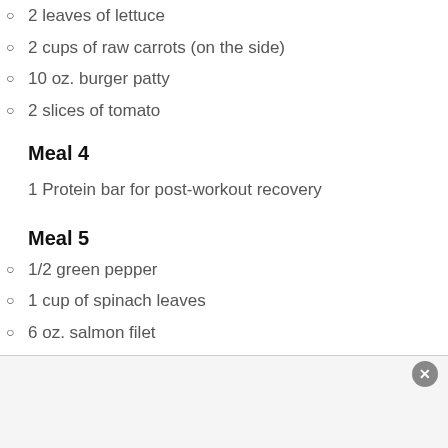2 leaves of lettuce
2 cups of raw carrots (on the side)
10 oz. burger patty
2 slices of tomato
Meal 4
1 Protein bar for post-workout recovery
Meal 5
1/2 green pepper
1 cup of spinach leaves
6 oz. salmon filet